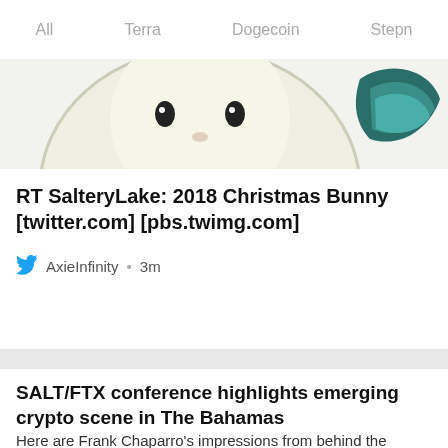All  Terra  Dogecoin  Stepn
[Figure (illustration): Partial image of an animated Christmas Bunny character with a white/cream body and teal wing-like element visible at the right edge]
RT SalteryLake: 2018 Christmas Bunny [twitter.com] [pbs.twimg.com]
AxieInfinity • 3m
SALT/FTX conference highlights emerging crypto scene in The Bahamas
Here are Frank Chaparro's impressions from behind the scenes at the FTX/SALT conference this week in The Bahamas. The post SALT/FTX conference highlights